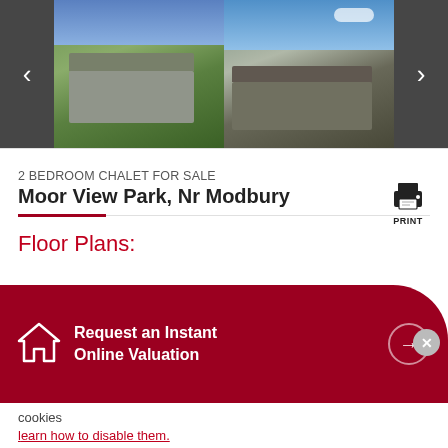[Figure (photo): Property photo strip showing two exterior views of a chalet/lodge building with surrounding greenery, with navigation arrows on each side]
2 BEDROOM CHALET FOR SALE
Moor View Park, Nr Modbury
Floor Plans:
Brochures :
Request an Instant Online Valuation
ookies
earn how to disable them.